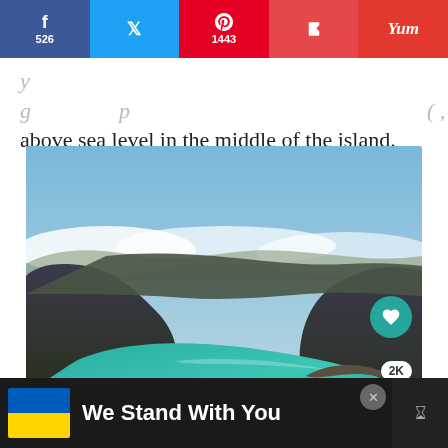[Figure (other): Social share bar with Facebook (526), Twitter, Pinterest (1443), Flipboard, and Yummly buttons]
above sea level in the middle of the island.
[Figure (photo): Aerial view of a volcanic crater lake with turquoise water surrounded by steep green mountains and clouds — likely Lagoa do Fogo in the Azores, Portugal]
[Figure (other): Advertisement banner: Ukraine flag with text 'We Stand With You' on dark background]